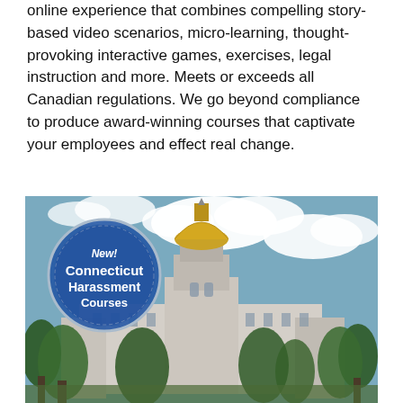online experience that combines compelling story-based video scenarios, micro-learning, thought-provoking interactive games, exercises, legal instruction and more. Meets or exceeds all Canadian regulations. We go beyond compliance to produce award-winning courses that captivate your employees and effect real change.
[Figure (other): A teal/green 'Learn More' button]
[Figure (photo): Photo of the Connecticut State Capitol building with a golden dome, trees, blue sky and clouds. Overlaid with a circular badge reading 'New! Connecticut Harassment Courses' in white text on a blue background with a compass/seal design.]